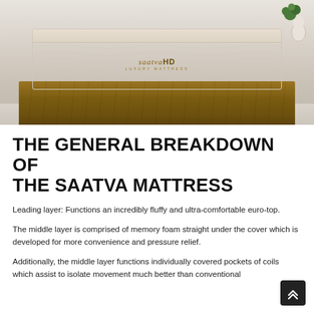[Figure (photo): Photo of a Saatva HD luxury mattress on a wooden bed frame in a light room with a plant in the background. The mattress label reads 'saatva HD LUXURY MATTRESS'.]
THE GENERAL BREAKDOWN OF THE SAATVA MATTRESS
Leading layer: Functions an incredibly fluffy and ultra-comfortable euro-top.
The middle layer is comprised of memory foam straight under the cover which is developed for more convenience and pressure relief.
Additionally, the middle layer functions individually covered pockets of coils which assist to isolate movement much better than conventional